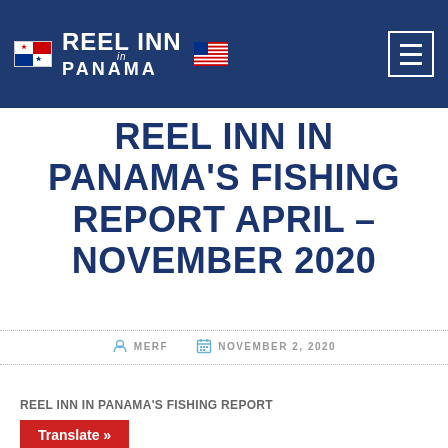Reel Inn in Panama — navigation header with logo and hamburger menu
REEL INN IN PANAMA'S FISHING REPORT APRIL – NOVEMBER 2020
MERF   NOVEMBER 2, 2020
REEL INN IN PANAMA'S FISHING REPORT
Translate »